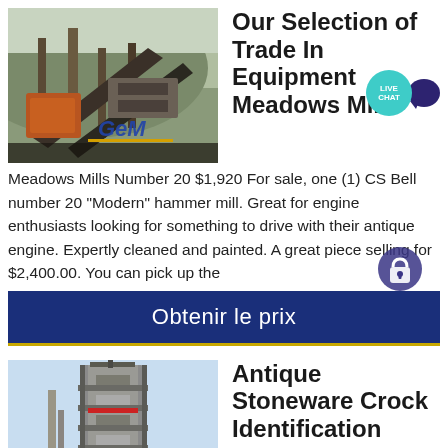[Figure (photo): Industrial mining/crushing equipment with conveyor belts and machinery against a hillside background, with GEM logo overlay in blue and yellow]
Our Selection of Trade In Equipment Meadows Mills
[Figure (other): Live Chat bubble icon - teal circle with LIVE CHAT text and dark purple speech bubble]
Meadows Mills Number 20 $1,920 For sale, one (1) CS Bell number 20 "Modern" hammer mill. Great for engine enthusiasts looking for something to drive with their antique engine. Expertly cleaned and painted. A great piece selling for $2,400.00. You can pick up the
Obtenir le prix
[Figure (photo): Industrial tower/plant structure with a tall multi-level framework against blue sky, yellow building visible at base]
Antique Stoneware Crock Identification